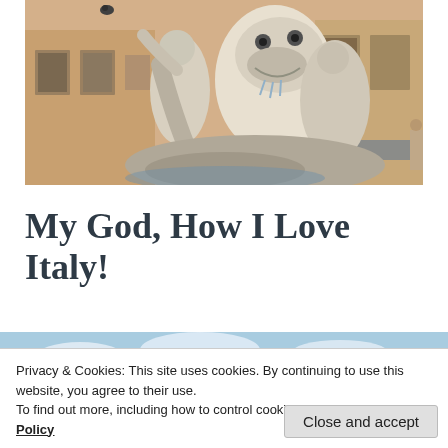[Figure (photo): Close-up photo of a classical marble fountain sculpture in Rome, showing figures and water, with buildings in the background]
My God, How I Love Italy!
[Figure (photo): Partial view of a second image showing a blue sky with clouds]
Privacy & Cookies: This site uses cookies. By continuing to use this website, you agree to their use.
To find out more, including how to control cookies, see here: Cookie Policy
Close and accept